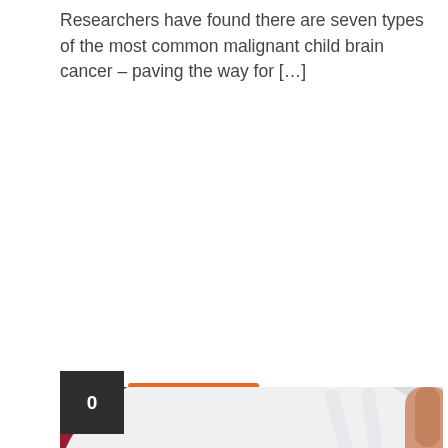Researchers have found there are seven types of the most common malignant child brain cancer – paving the way for […]
Read more
[Figure (photo): Photo of small dessert cups filled with white cream/yogurt topped with dark berry compote, being served with a white spoon, on a white plate with red napkins in background.]
Diet softdrinks may be tricking your brain into making you fatter, new study suggests